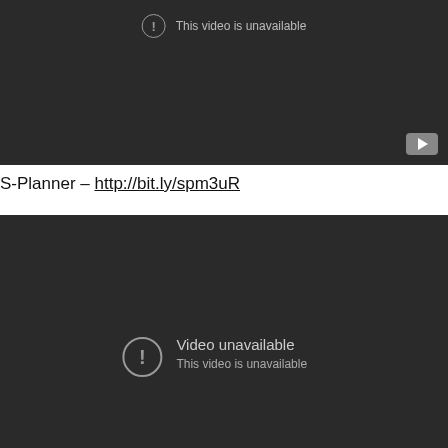[Figure (screenshot): YouTube video player showing unavailable video with dark background, exclamation icon, text 'This video is unavailable', and YouTube logo button in bottom right]
S-Planner – http://bit.ly/spm3uR
[Figure (screenshot): YouTube video player showing unavailable video with dark background, exclamation icon, 'Video unavailable' title and 'This video is unavailable' subtitle]